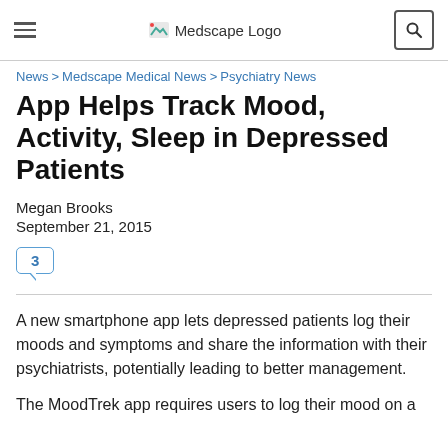Medscape Logo
News > Medscape Medical News > Psychiatry News
App Helps Track Mood, Activity, Sleep in Depressed Patients
Megan Brooks
September 21, 2015
[Figure (other): Comment bubble icon showing number 3]
A new smartphone app lets depressed patients log their moods and symptoms and share the information with their psychiatrists, potentially leading to better management.
The MoodTrek app requires users to log their mood on a